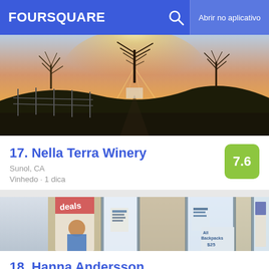FOURSQUARE  🔍  Abrir no aplicativo
[Figure (photo): Landscape photo of rolling hills at sunset with bare trees and a wooden fence]
17. Nella Terra Winery
Sunol, CA
Vinhedo · 1 dica
[Figure (photo): Interior of a store with banner signs including 'deals' and displays, a child on a poster, and 'All Backpacks' signage]
18. Hanna Andersson